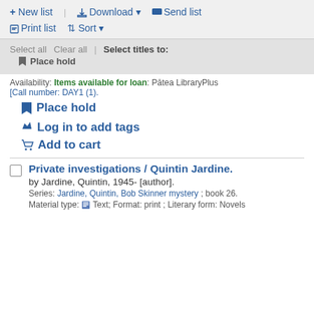+ New list | Download ▼  Send list  Print list  ⇅ Sort ▼
Select all   Clear all   | Select titles to:
Place hold
Availability: Items available for loan: Pātea LibraryPlus [Call number: DAY1 (1).
Place hold
Log in to add tags
Add to cart
Private investigations / Quintin Jardine.
by Jardine, Quintin, 1945- [author].
Series: Jardine, Quintin, Bob Skinner mystery ; book 26.
Material type: Text; Format: print ; Literary form: Novels